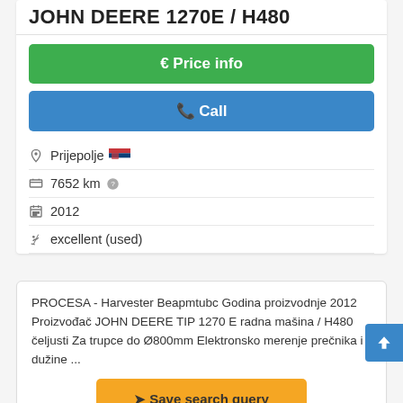JOHN DEERE 1270E / H480
€ Price info
✆ Call
Prijepolje 🇷🇸
7652 km ?
2012
excellent (used)
PROCESA - Harvester Beapmtubc Godina proizvodnje 2012 Proizvođač JOHN DEERE TIP 1270 E radna mašina / H480 čeljusti Za trupce do Ø800mm Elektronsko merenje prečnika i dužine ...
➤ Save search query